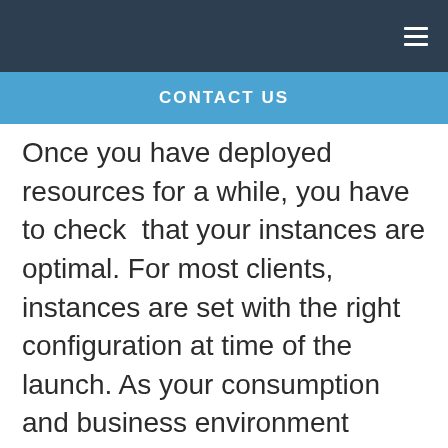CONTACT US
Once you have deployed resources for a while, you have to check  that your instances are optimal. For most clients, instances are set with the right configuration at time of the launch. As your consumption and business environment evolve, the original configuration become less optimal. This discrepancy is the source of cloud waste and more so, if you run a large fleet of instances across multiple applications.  Avoid paying for resources that are not used at full